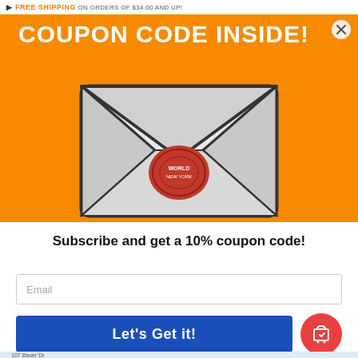FREE SHIPPING ON ORDERS OF $34.00 AND UP!
COUPON CODE INSIDE!
[Figure (illustration): Illustration of a sealed envelope with a red wax seal stamp in the center, set against an orange background. The envelope is white/light grey with dark grey borders and flap lines.]
Subscribe and get a 10% coupon code!
[Figure (screenshot): Email input field placeholder text reading 'Email']
Let's Get it!
107 Bauer Dr